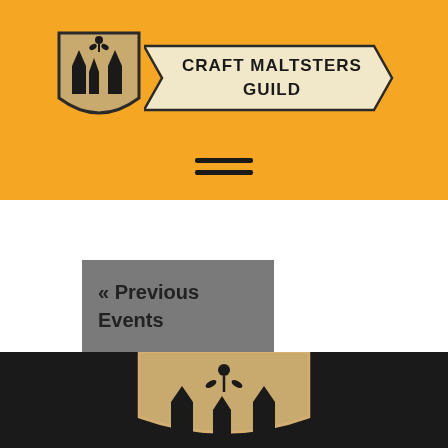[Figure (logo): Craft Maltsters Guild logo — shield icon with grain/kiln imagery on left, banner reading CRAFT MALTSTERS GUILD on right, on orange background]
[Figure (other): Hamburger menu icon — three horizontal black lines]
« Previous Events
+ EXPORT EVENTS
[Figure (logo): Craft Maltsters Guild shield icon (partial, cropped) on black footer background]